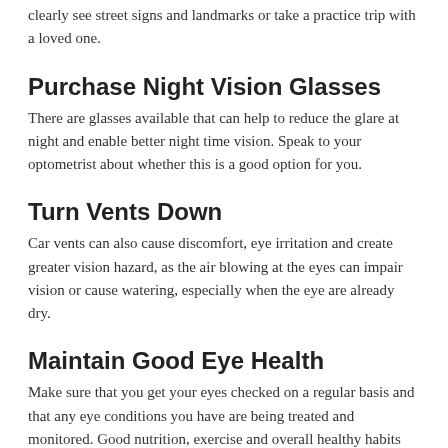clearly see street signs and landmarks or take a practice trip with a loved one.
Purchase Night Vision Glasses
There are glasses available that can help to reduce the glare at night and enable better night time vision. Speak to your optometrist about whether this is a good option for you.
Turn Vents Down
Car vents can also cause discomfort, eye irritation and create greater vision hazard, as the air blowing at the eyes can impair vision or cause watering, especially when the eye are already dry.
Maintain Good Eye Health
Make sure that you get your eyes checked on a regular basis and that any eye conditions you have are being treated and monitored. Good nutrition, exercise and overall healthy habits will help to protect and heal your eyes as well. Further, listen to your instincts, if you feel unsafe driving or if your doctor (or family members) tell you